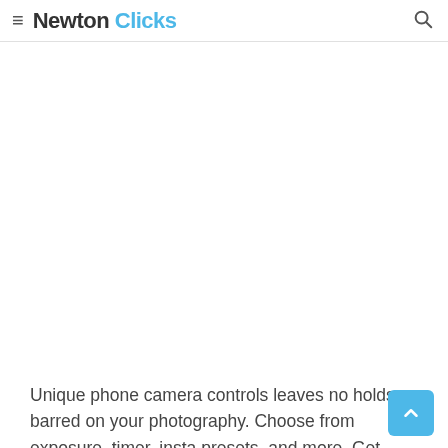Newton Clicks
[Figure (other): Large blank white area representing an image placeholder or loaded image area]
Unique phone camera controls leaves no holds barred on your photography. Choose from exposure, timer, instant presets, and more. Get even more control over your